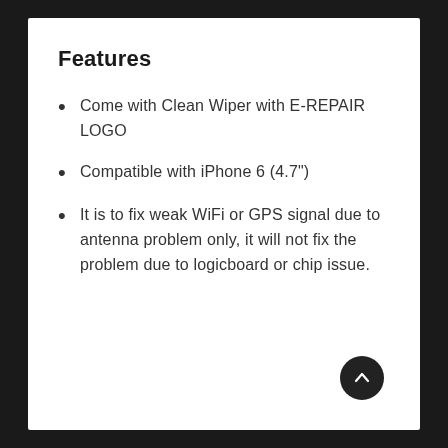Features
Come with Clean Wiper with E-REPAIR LOGO
Compatible with iPhone 6 (4.7")
It is to fix weak WiFi or GPS signal due to antenna problem only, it will not fix the problem due to logicboard or chip issue.